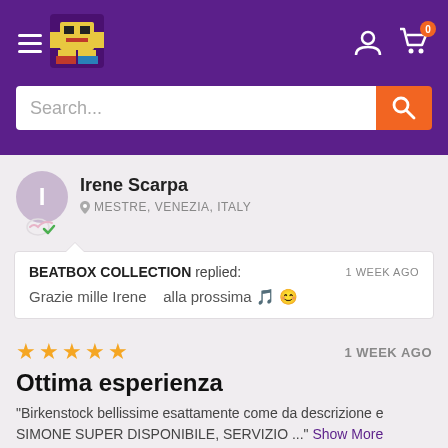[Figure (screenshot): E-commerce website header with purple background, hamburger menu, logo, user icon, cart icon with badge showing 0, and search bar with orange search button]
Irene Scarpa
MESTRE, VENEZIA, ITALY
BEATBOX COLLECTION replied: 1 WEEK AGO
Grazie mille Irene    alla prossima 🎵 😊
★★★★★ 1 WEEK AGO
Ottima esperienza
"Birkenstock bellissime esattamente come da descrizione e SIMONE SUPER DISPONIBILE, SERVIZIO ..." Show More